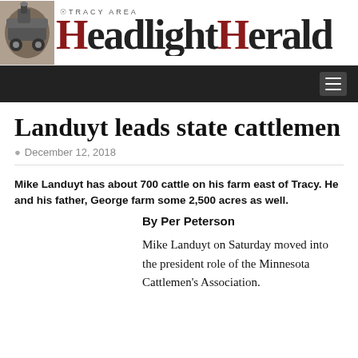TRACY AREA Headlight Herald
Landuyt leads state cattlemen
December 12, 2018
Mike Landuyt has about 700 cattle on his farm east of Tracy. He and his father, George farm some 2,500 acres as well.
By Per Peterson
Mike Landuyt on Saturday moved into the president role of the Minnesota Cattlemen's Association.